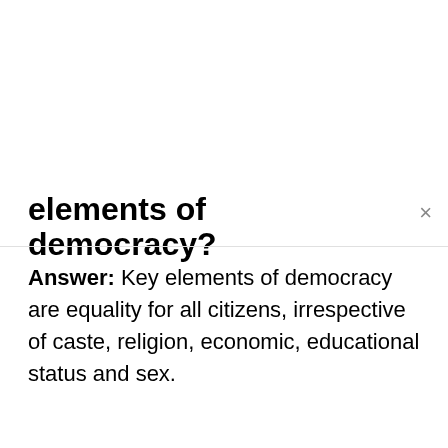elements of democracy?
Answer: Key elements of democracy are equality for all citizens, irrespective of caste, religion, economic, educational status and sex.